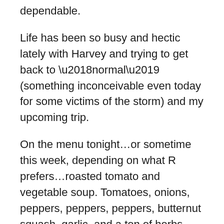dependable.
Life has been so busy and hectic lately with Harvey and trying to get back to ‘normal’ (something inconceivable even today for some victims of the storm) and my upcoming trip.
On the menu tonight…or sometime this week, depending on what R prefers…roasted tomato and vegetable soup. Tomatoes, onions, peppers, peppers, peppers, butternut squash, garlic, and a ton of herbs…sage, thyme, rosemary, and basil. All roasted together in the oven and then combined in a stock pot, that my Grandmother gave me, with chicken stock to summer. Blended together and presto. An